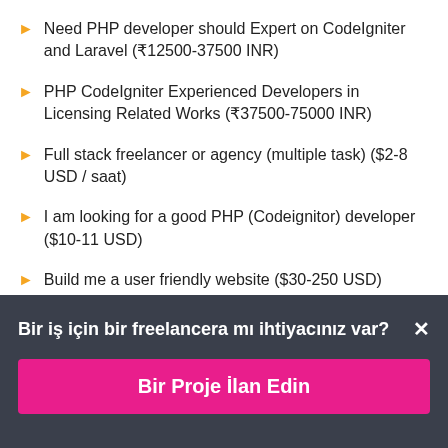Need PHP developer should Expert on CodeIgniter and Laravel (₹12500-37500 INR)
PHP CodeIgniter Experienced Developers in Licensing Related Works (₹37500-75000 INR)
Full stack freelancer or agency (multiple task) ($2-8 USD / saat)
I am looking for a good PHP (Codeignitor) developer ($10-11 USD)
Build me a user friendly website ($30-250 USD)
PHP8, MYSQL8, LARAVEL with proven experience in e-commerce ($250-750 USD)
Bir iş için bir freelancera mı ihtiyacınız var? ×
Bir Proje İlan Edin